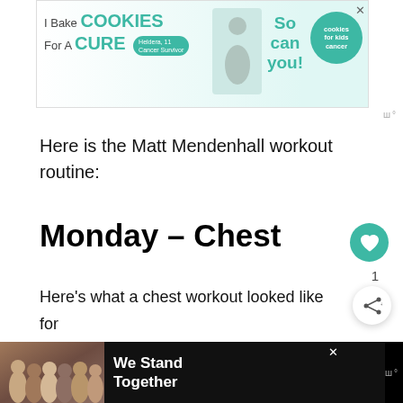[Figure (advertisement): Top banner ad: 'I Bake COOKIES For A CURE – So can you! – cookies for kids cancer' with photo of girl and teal circle logo. Close X button top right.]
Here is the Matt Mendenhall workout routine:
Monday – Chest
Here's what a chest workout looked like for Matt.
[Figure (advertisement): Bottom banner ad on black background: group of people hugging from behind, 'We Stand Together' text in white.]